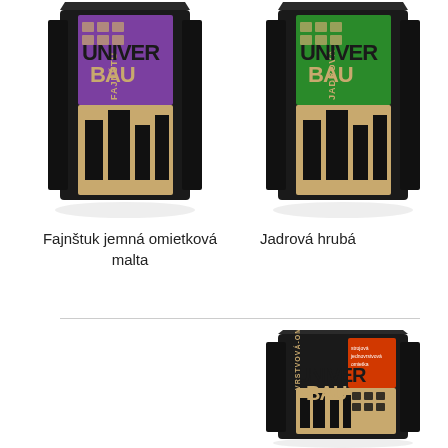[Figure (photo): Product bag: Fajnštuk jemná omietková malta - UNIVER BAU, purple and black packaging with building graphic]
[Figure (photo): Product bag: Jadrová hrubá - UNIVER BAU, green and black packaging with building graphic]
Fajnštuk jemná omietková malta
Jadrová hrubá
[Figure (photo): Product bag: Strojová jednovrstvová omietka - UNIVER BAU, orange and black packaging with building graphic]